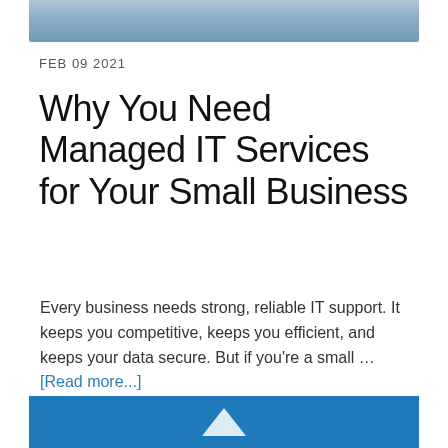[Figure (photo): Partial photo of a person at a desk, cropped at top of page]
FEB 09 2021
Why You Need Managed IT Services for Your Small Business
Every business needs strong, reliable IT support. It keeps you competitive, keeps you efficient, and keeps your data secure. But if you're a small ... [Read more...]
[Figure (illustration): Blue banner footer with white upward-pointing chevron arrow]